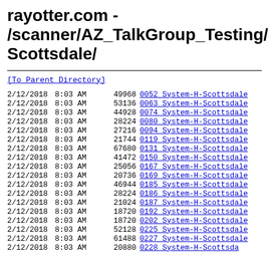rayotter.com - /scanner/AZ_TalkGroup_Testing/Scottsdale/
[To Parent Directory]
| Date | Time | Size | Name |
| --- | --- | --- | --- |
| 2/12/2018 | 8:03 AM | 49968 | 0052 System-H-Scottsdale |
| 2/12/2018 | 8:03 AM | 53136 | 0063 System-H-Scottsdale |
| 2/12/2018 | 8:03 AM | 44928 | 0074 System-H-Scottsdale |
| 2/12/2018 | 8:03 AM | 28224 | 0080 System-H-Scottsdale |
| 2/12/2018 | 8:03 AM | 27216 | 0094 System-H-Scottsdale |
| 2/12/2018 | 8:03 AM | 21744 | 0119 System-H-Scottsdale |
| 2/12/2018 | 8:03 AM | 67680 | 0131 System-H-Scottsdale |
| 2/12/2018 | 8:03 AM | 41472 | 0150 System-H-Scottsdale |
| 2/12/2018 | 8:03 AM | 25056 | 0167 System-H-Scottsdale |
| 2/12/2018 | 8:03 AM | 20736 | 0169 System-H-Scottsdale |
| 2/12/2018 | 8:03 AM | 46944 | 0185 System-H-Scottsdale |
| 2/12/2018 | 8:03 AM | 28224 | 0186 System-H-Scottsdale |
| 2/12/2018 | 8:03 AM | 21024 | 0187 System-H-Scottsdale |
| 2/12/2018 | 8:03 AM | 18720 | 0192 System-H-Scottsdale |
| 2/12/2018 | 8:03 AM | 18720 | 0202 System-H-Scottsdale |
| 2/12/2018 | 8:03 AM | 52128 | 0225 System-H-Scottsdale |
| 2/12/2018 | 8:03 AM | 61488 | 0227 System-H-Scottsdale |
| 2/12/2018 | 8:03 AM | 20880 | 0228 System-H-Scottsdale |